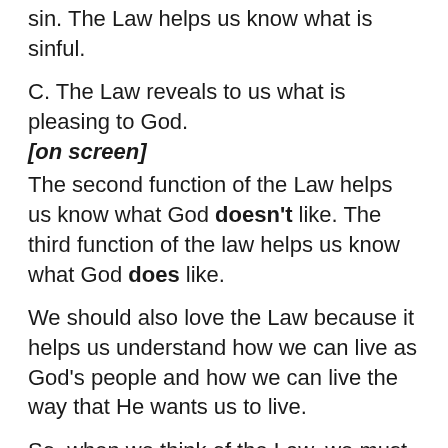sin. The Law helps us know what is sinful.
C. The Law reveals to us what is pleasing to God.
[on screen]
The second function of the Law helps us know what God doesn't like. The third function of the law helps us know what God does like.
We should also love the Law because it helps us understand how we can live as God's people and how we can live the way that He wants us to live.
So, when we think of the Law, we must remember that it has different functions for us today.
The final major truth is that …